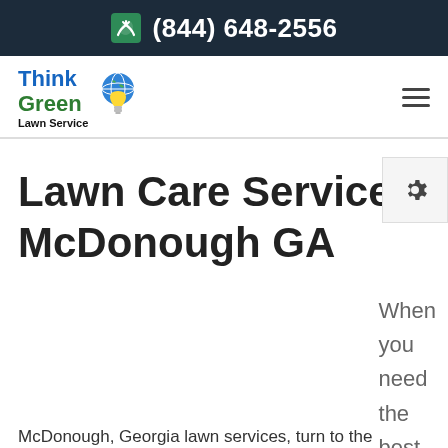(844) 648-2556
[Figure (logo): Think Green Lawn Service logo with globe and lightbulb icon]
Lawn Care Service McDonough GA
When you need the best
McDonough, Georgia lawn services, turn to the